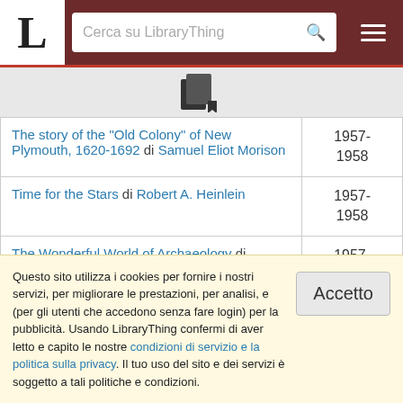LibraryThing - Cerca su LibraryThing
[Figure (other): Books/documents icon with a dropdown arrow]
| Title/Author | Year |
| --- | --- |
| The story of the "Old Colony" of New Plymouth, 1620-1692 di Samuel Eliot Morison | 1957-1958 |
| Time for the Stars di Robert A. Heinlein | 1957-1958 |
| The Wonderful World of Archaeology di Ronald Jessup | 1957-1958 |
| Young Mariner Melville di Jean Gould | 1957-1958 |
Questo sito utilizza i cookies per fornire i nostri servizi, per migliorare le prestazioni, per analisi, e (per gli utenti che accedono senza fare login) per la pubblicità. Usando LibraryThing confermi di aver letto e capito le nostre condizioni di servizio e la politica sulla privacy. Il tuo uso del sito e dei servizi è soggetto a tali politiche e condizioni.